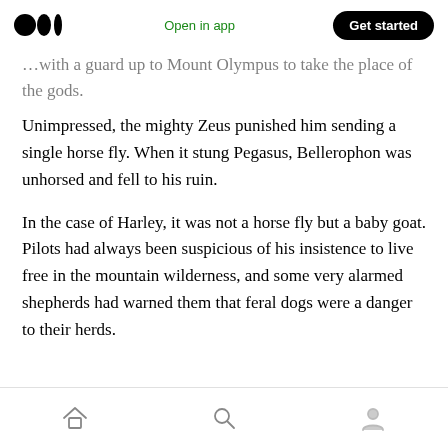Medium logo | Open in app | Get started
…with a guard up to Mount Olympus to take the place of the gods.
Unimpressed, the mighty Zeus punished him sending a single horse fly. When it stung Pegasus, Bellerophon was unhorsed and fell to his ruin.
In the case of Harley, it was not a horse fly but a baby goat. Pilots had always been suspicious of his insistence to live free in the mountain wilderness, and some very alarmed shepherds had warned them that feral dogs were a danger to their herds.
Home | Search | Profile